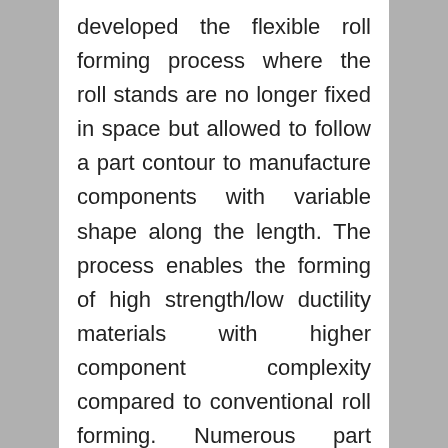developed the flexible roll forming process where the roll stands are no longer fixed in space but allowed to follow a part contour to manufacture components with variable shape along the length. The process enables the forming of high strength/low ductility materials with higher component complexity compared to conventional roll forming. Numerous part families can be formed with one and the same tool set and this leads to high process flexibility and potential costs savings compared to conventional forming methods such